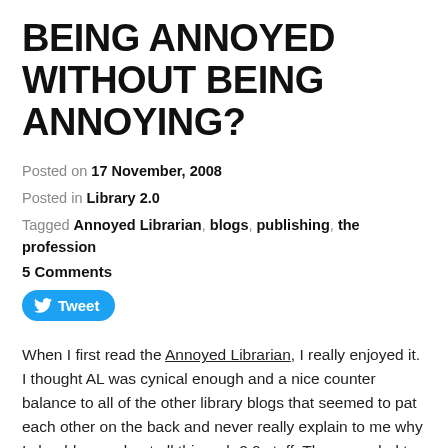BEING ANNOYED WITHOUT BEING ANNOYING?
Posted on 17 November, 2008
Posted in Library 2.0
Tagged Annoyed Librarian, blogs, publishing, the profession
5 Comments
[Figure (other): Tweet button with Twitter bird icon]
When I first read the Annoyed Librarian, I really enjoyed it. I thought AL was cynical enough and a nice counter balance to all of the other library blogs that seemed to pat each other on the back and never really explain to me why I should care about all this web 2.0 stuff. There needed to be somebody telling us to step back and think about things, and I thought AL would do that. Well, I was